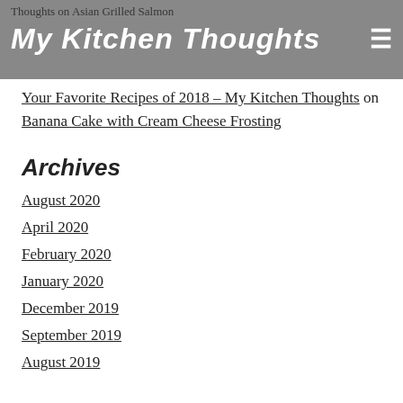My Kitchen Thoughts
Thoughts on Asian Grilled Salmon Your Favorite Recipes of 2018 – My Kitchen Thoughts on Banana Cake with Cream Cheese Frosting
Archives
August 2020
April 2020
February 2020
January 2020
December 2019
September 2019
August 2019